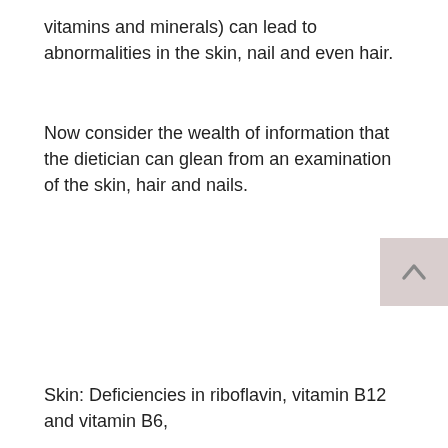vitamins and minerals) can lead to abnormalities in the skin, nail and even hair.
Now consider the wealth of information that the dietician can glean from an examination of the skin, hair and nails.
Skin: Deficiencies in riboflavin, vitamin B12 and vitamin B6,